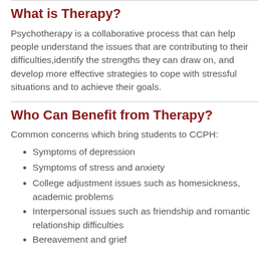What is Therapy?
Psychotherapy is a collaborative process that can help people understand the issues that are contributing to their difficulties,identify the strengths they can draw on, and develop more effective strategies to cope with stressful situations and to achieve their goals.
Who Can Benefit from Therapy?
Common concerns which bring students to CCPH:
Symptoms of depression
Symptoms of stress and anxiety
College adjustment issues such as homesickness, academic problems
Interpersonal issues such as friendship and romantic relationship difficulties
Bereavement and grief